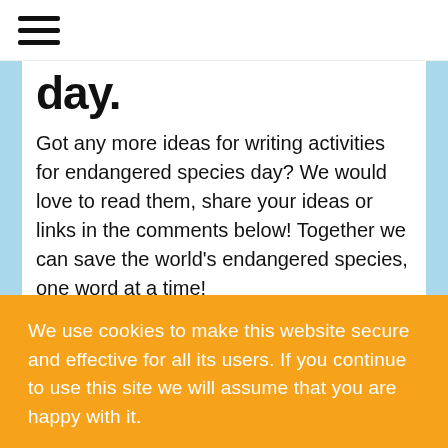day.
Got any more ideas for writing activities for endangered species day? We would love to read them, share your ideas or links in the comments below! Together we can save the world's endangered species, one word at a time!
We use cookies to make this website secure and effective for all its users. If you continue to use this site we will assume that you are happy with it.
Continue   Change Settings
[Figure (illustration): Green promotional banner with red text reading 'for Endangered Species Day']